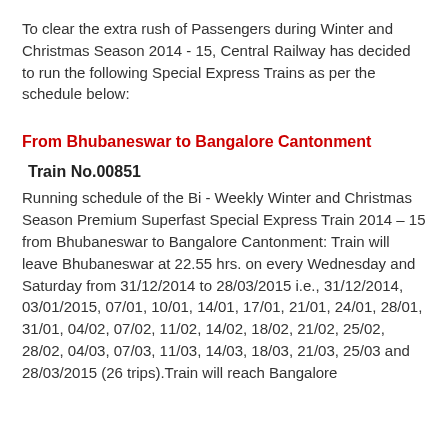To clear the extra rush of Passengers during Winter and Christmas Season 2014 - 15, Central Railway has decided to run the following Special Express Trains as per the schedule below:
From Bhubaneswar to Bangalore Cantonment
Train No.00851
Running schedule of the Bi - Weekly Winter and Christmas Season Premium Superfast Special Express Train 2014 – 15 from Bhubaneswar to Bangalore Cantonment: Train will leave Bhubaneswar at 22.55 hrs. on every Wednesday and Saturday from 31/12/2014 to 28/03/2015 i.e., 31/12/2014, 03/01/2015, 07/01, 10/01, 14/01, 17/01, 21/01, 24/01, 28/01, 31/01, 04/02, 07/02, 11/02, 14/02, 18/02, 21/02, 25/02, 28/02, 04/03, 07/03, 11/03, 14/03, 18/03, 21/03, 25/03 and 28/03/2015 (26 trips).Train will reach Bangalore Cantonment at 06.10 hrs. on alternate days. The total